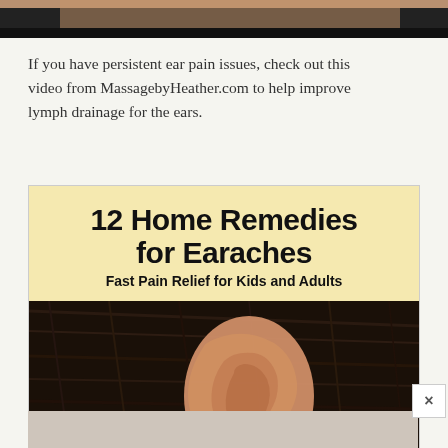[Figure (photo): Top strip showing partial image of a person, cropped at top of page]
If you have persistent ear pain issues, check out this video from MassagebyHeather.com to help improve lymph drainage for the ears.
[Figure (infographic): Infographic image with light yellow header area reading '12 Home Remedies for Earaches' and subtitle 'Fast Pain Relief for Kids and Adults', with a photo of a human ear below against dark hair background]